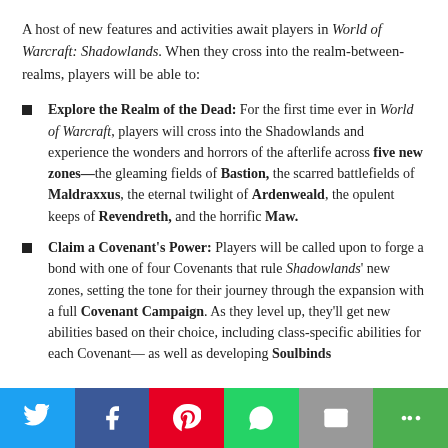A host of new features and activities await players in World of Warcraft: Shadowlands. When they cross into the realm-between-realms, players will be able to:
Explore the Realm of the Dead: For the first time ever in World of Warcraft, players will cross into the Shadowlands and experience the wonders and horrors of the afterlife across five new zones—the gleaming fields of Bastion, the scarred battlefields of Maldraxxus, the eternal twilight of Ardenweald, the opulent keeps of Revendreth, and the horrific Maw.
Claim a Covenant's Power: Players will be called upon to forge a bond with one of four Covenants that rule Shadowlands' new zones, setting the tone for their journey through the expansion with a full Covenant Campaign. As they level up, they'll get new abilities based on their choice, including class-specific abilities for each Covenant— as well as developing Soulbinds